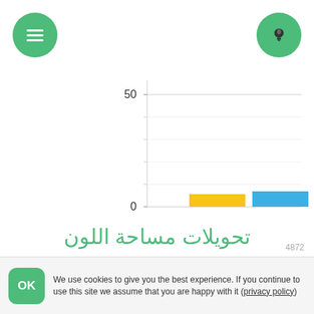[Figure (bar-chart): تحويلات مساحة اللون]
تحويلات مساحة اللون
We use cookies to give you the best experience. If you continue to use this site we assume that you are happy with it (privacy policy)